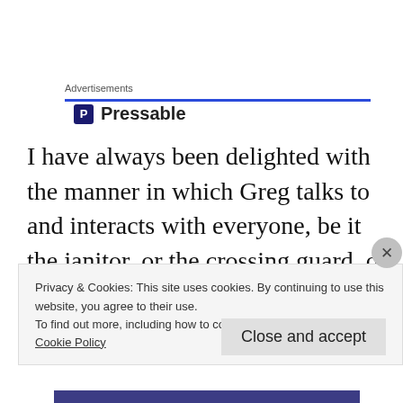Advertisements
[Figure (logo): Pressable logo with blue 'P' icon and bold text 'Pressable']
I have always been delighted with the manner in which Greg talks to and interacts with everyone, be it the janitor, or the crossing guard, or the housekeeper; Greg is always kind and respectful.
Privacy & Cookies: This site uses cookies. By continuing to use this website, you agree to their use.
To find out more, including how to control cookies, see here: Cookie Policy
Close and accept